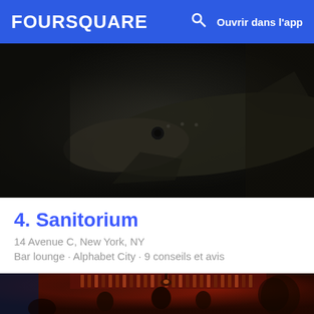FOURSQUARE  🔍  Ouvrir dans l'app
[Figure (photo): Dark close-up photo of a taxidermy animal head (appears to be a large fish or shark) mounted on a wall in a dimly lit bar setting]
4. Sanitorium
14 Avenue C, New York, NY
Bar lounge · Alphabet City · 9 conseils et avis
[Figure (photo): Interior photo of a bar with warm red lighting, bottles displayed behind the bar, people sitting and standing, a smiling man on the right side]